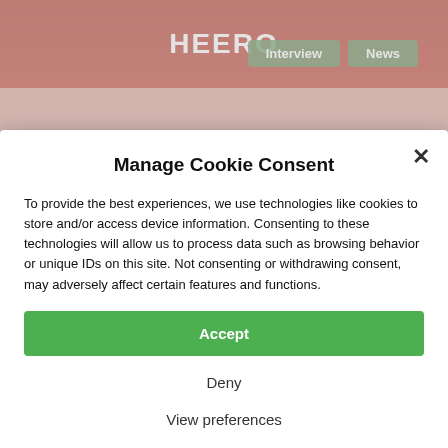[Figure (screenshot): Website background showing HEERo logo, navigation buttons (Interview, News), and a partially visible article with green quote text about energy efficiency savings over 40% and footer text about Interview with R2M Solution]
Manage Cookie Consent
To provide the best experiences, we use technologies like cookies to store and/or access device information. Consenting to these technologies will allow us to process data such as browsing behavior or unique IDs on this site. Not consenting or withdrawing consent, may adversely affect certain features and functions.
Accept
Deny
View preferences